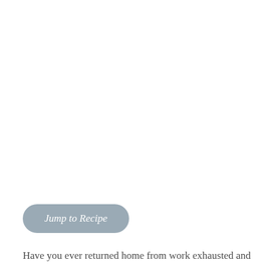Jump to Recipe
Have you ever returned home from work exhausted and